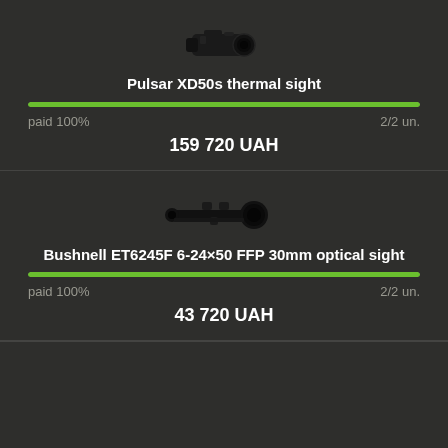[Figure (photo): Pulsar XD50s thermal sight product image - black thermal monocular device]
Pulsar XD50s thermal sight
paid 100%
2/2 un.
159 720 UAH
[Figure (photo): Bushnell ET6245F 6-24x50 FFP 30mm optical sight - rifle scope product image]
Bushnell ET6245F 6-24×50 FFP 30mm optical sight
paid 100%
2/2 un.
43 720 UAH